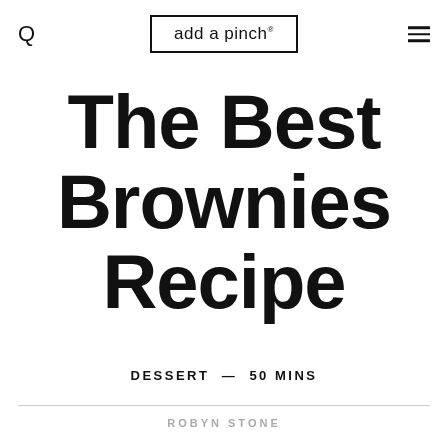add a pinch.
The Best Brownies Recipe
DESSERT — 50 MINS
ROBYN STONE